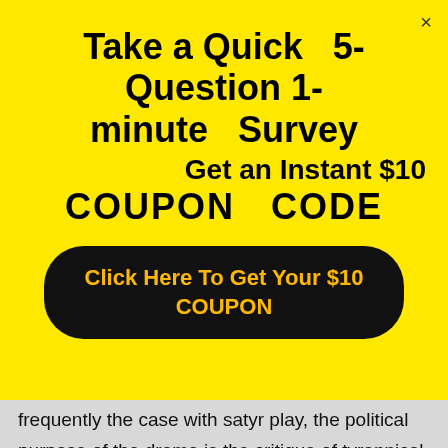[Figure (screenshot): Yellow popup overlay on a webpage showing a survey coupon offer. Title: 'Take a Quick 5-Question 1-minute Survey'. Subtitle: 'Get an Instant $10 COUPON CODE'. Black rounded button: 'Click Here To Get Your $10 COUPON'. A close (×) button in top right. Behind the popup, faded body text about satyr play is visible.]
frequently the case with satyr play, the political purpose of the drama is the critique of tyrannical government. Its original purpose was to make fun of the pretentiousness of opera and the upper class who could afford to